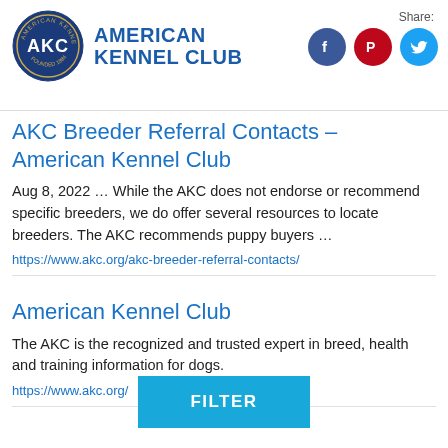[Figure (logo): American Kennel Club logo with circular badge and AKC text, plus Facebook, Pinterest, Twitter social share icons]
AKC Breeder Referral Contacts – American Kennel Club
Aug 8, 2022 … While the AKC does not endorse or recommend specific breeders, we do offer several resources to locate breeders. The AKC recommends puppy buyers …
https://www.akc.org/akc-breeder-referral-contacts/
American Kennel Club
The AKC is the recognized and trusted expert in breed, health and training information for dogs.
https://www.akc.org/